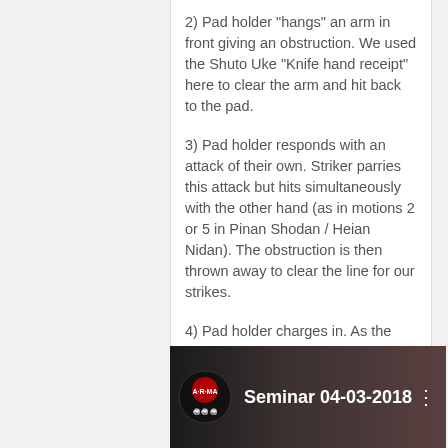2) Pad holder "hangs" an arm in front giving an obstruction. We used the Shuto Uke "Knife hand receipt" here to clear the arm and hit back to the pad.
3) Pad holder responds with an attack of their own. Striker parries this attack but hits simultaneously with the other hand (as in motions 2 or 5 in Pinan Shodan / Heian Nidan). The obstruction is then thrown away to clear the line for our strikes.
4) Pad holder charges in. As the pad holder shoots in we use the final motion from Seisan kata as we drop back and down and jam the pad holders Shoulders. As the head is down we follow with two knees and an over hand punch.
Andy
[Figure (screenshot): Video thumbnail showing a martial arts seminar dated 04-03-2018, with a circular logo on the left and the text 'Seminar 04-03-2018' in white on a dark background.]